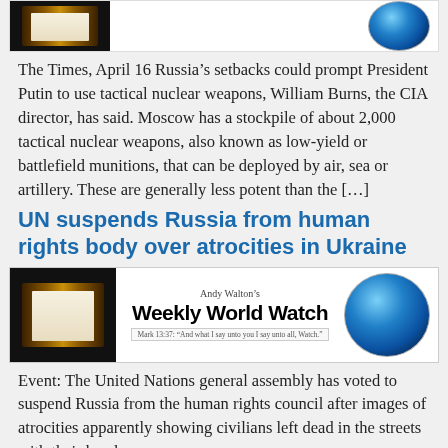[Figure (other): Andy Walton's Weekly World Watch banner header (top, partially cropped) showing a bible image on left and globe on right]
The Times, April 16 Russia’s setbacks could prompt President Putin to use tactical nuclear weapons, William Burns, the CIA director, has said. Moscow has a stockpile of about 2,000 tactical nuclear weapons, also known as low-yield or battlefield munitions, that can be deployed by air, sea or artillery. These are generally less potent than the [...]
UN suspends Russia from human rights body over atrocities in Ukraine
[Figure (other): Andy Walton's Weekly World Watch banner showing open Bible on left, title text in center, and globe on right]
Event: The United Nations general assembly has voted to suspend Russia from the human rights council after images of atrocities apparently showing civilians left dead in the streets with their hands